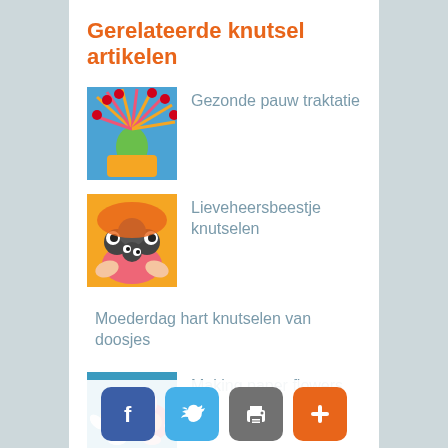Gerelateerde knutsel artikelen
Gezonde pauw traktatie
Lieveheersbeestje knutselen
Moederdag hart knutselen van doosjes
Making paper flowers